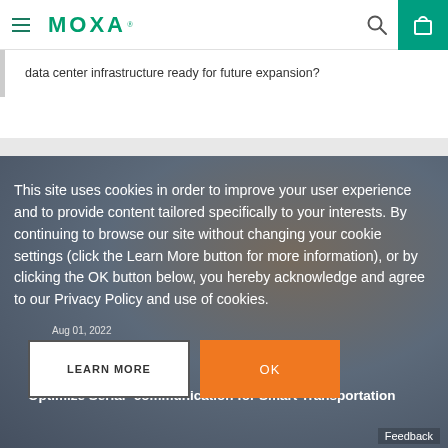MOXA
data center infrastructure ready for future expansion?
This site uses cookies in order to improve your user experience and to provide content tailored specifically to your interests. By continuing to browse our site without changing your cookie settings (click the Learn More button for more information), or by clicking the OK button below, you hereby acknowledge and agree to our Privacy Policy and use of cookies.
Aug 01, 2022
LEARN MORE
OK
Optimize Serial- communication for Smart Transportation
Feedback